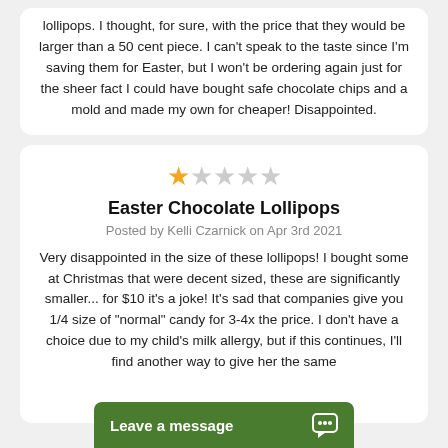lollipops. I thought, for sure, with the price that they would be larger than a 50 cent piece. I can't speak to the taste since I'm saving them for Easter, but I won't be ordering again just for the sheer fact I could have bought safe chocolate chips and a mold and made my own for cheaper! Disappointed.
[Figure (other): Star rating: 1 out of 5 stars (one filled orange star, four empty grey stars)]
Easter Chocolate Lollipops
Posted by Kelli Czarnick on Apr 3rd 2021
Very disappointed in the size of these lollipops! I bought some at Christmas that were decent sized, these are significantly smaller... for $10 it's a joke! It's sad that companies give you 1/4 size of "normal" candy for 3-4x the price. I don't have a choice due to my child's milk allergy, but if this continues, I'll find another way to give her the same
Leave a message